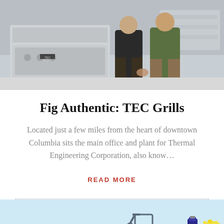[Figure (photo): Two people standing next to a large stainless steel TEC grill in an industrial warehouse or plant setting.]
Fig Authentic: TEC Grills
Located just a few miles from the heart of downtown Columbia sits the main office and plant for Thermal Engineering Corporation, also know…
READ MORE
[Figure (illustration): Colorful illustration showing a bicycle with a basket, a small figure wearing a helmet, a Coca-Cola bottle, and a popcorn container on a light blue background.]